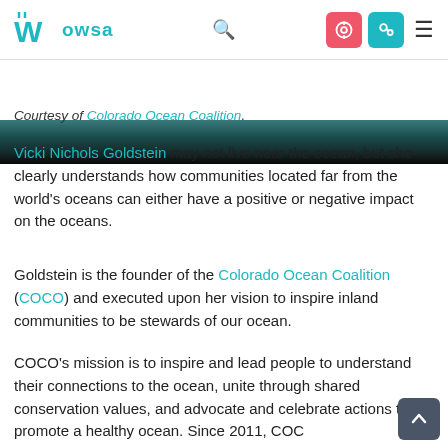Wowsa [logo] [search] [icons] [menu]
[Figure (photo): Dark underwater or ocean scene photo strip at top of article]
Courtesy of Colorado Ocean Coalition.
Vicki Nichols Goldstein may not live near the ocean, but she clearly understands how communities located far from the world's oceans can either have a positive or negative impact on the oceans.
Goldstein is the founder of the Colorado Ocean Coalition (COCO) and executed upon her vision to inspire inland communities to be stewards of our ocean.
COCO's mission is to inspire and lead people to understand their connections to the ocean, unite through shared conservation values, and advocate and celebrate actions that promote a healthy ocean. Since 2011, COCO…